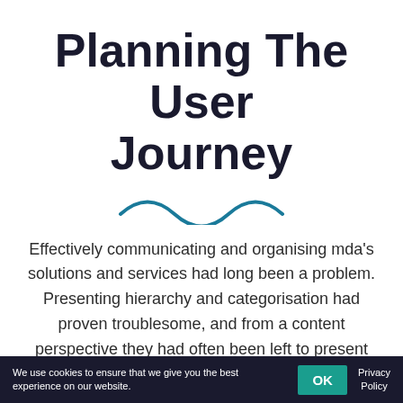Planning The User Journey
[Figure (illustration): Teal wavy decorative line divider]
Effectively communicating and organising mda's solutions and services had long been a problem. Presenting hierarchy and categorisation had proven troublesome, and from a content perspective they had often been left to present large walls of technical content on a single page. By
We use cookies to ensure that we give you the best experience on our website.  OK  Privacy Policy